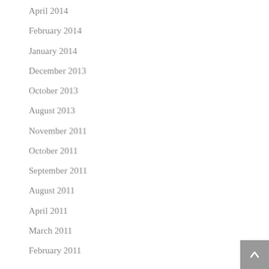April 2014
February 2014
January 2014
December 2013
October 2013
August 2013
November 2011
October 2011
September 2011
August 2011
April 2011
March 2011
February 2011